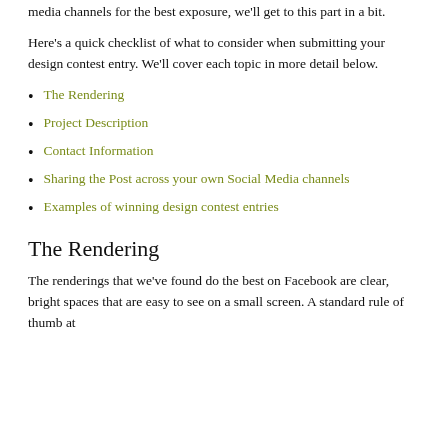media channels for the best exposure, we'll get to this part in a bit.
Here's a quick checklist of what to consider when submitting your design contest entry. We'll cover each topic in more detail below.
The Rendering
Project Description
Contact Information
Sharing the Post across your own Social Media channels
Examples of winning design contest entries
The Rendering
The renderings that we've found do the best on Facebook are clear, bright spaces that are easy to see on a small screen. A standard rule of thumb at Chief Architect is that...